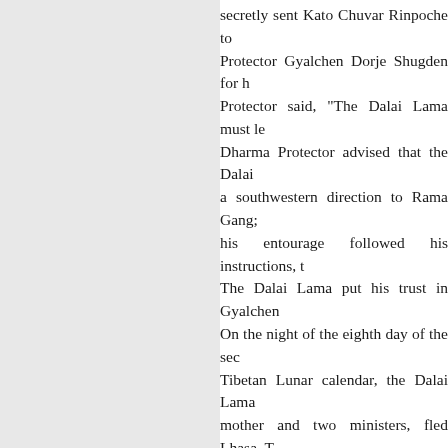secretly sent Kato Chuvar Rinpoche to Protector Gyalchen Dorje Shugden for h Protector said, "The Dalai Lama must le Dharma Protector advised that the Dalai a southwestern direction to Rama Gang; h his entourage followed his instructions, t The Dalai Lama put his trust in Gyalchen On the night of the eighth day of the sec Tibetan Lunar calendar, the Dalai Lama mother and two ministers, fled Lhasa. T Ling Rinpoche and Kyabje Trijang Rin Lhabu among them. No one carried ar disguise and wore a gau against his be Lhasa behind them, the escapees crosse on their way to the river they could se Communist army encampment. The mo Trijang Rinpoche was afraid that they w moon disappeared behind the mountain the river in almost total darkness. Some including Lhabu, but luckily he was abl group the next day.